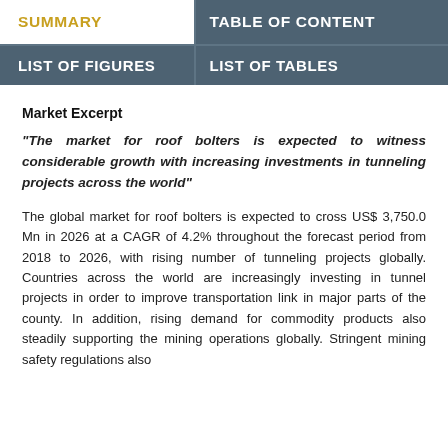SUMMARY | TABLE OF CONTENT | LIST OF FIGURES | LIST OF TABLES
Market Excerpt
"The market for roof bolters is expected to witness considerable growth with increasing investments in tunneling projects across the world"
The global market for roof bolters is expected to cross US$ 3,750.0 Mn in 2026 at a CAGR of 4.2% throughout the forecast period from 2018 to 2026, with rising number of tunneling projects globally. Countries across the world are increasingly investing in tunnel projects in order to improve transportation link in major parts of the county. In addition, rising demand for commodity products also steadily supporting the mining operations globally. Stringent mining safety regulations also